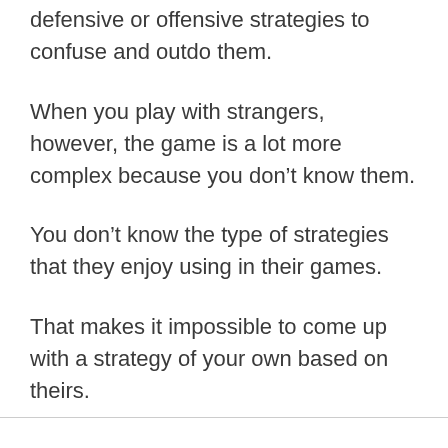defensive or offensive strategies to confuse and outdo them.
When you play with strangers, however, the game is a lot more complex because you don’t know them.
You don’t know the type of strategies that they enjoy using in their games.
That makes it impossible to come up with a strategy of your own based on theirs.